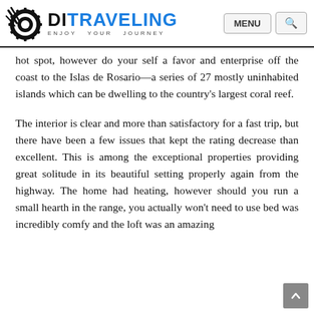DITRAVELING ENJOY YOUR JOURNEY | MENU | Search
hot spot, however do your self a favor and enterprise off the coast to the Islas de Rosario—a series of 27 mostly uninhabited islands which can be dwelling to the country's largest coral reef.
The interior is clear and more than satisfactory for a fast trip, but there have been a few issues that kept the rating decrease than excellent. This is among the exceptional properties providing great solitude in its beautiful setting properly again from the highway. The home had heating, however should you run a small hearth in the range, you actually won't need to use bed was incredibly comfy and the loft was an amazing